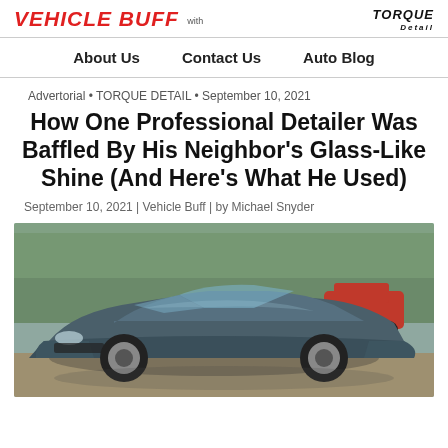VEHICLE BUFF with TORQUE Detail — About Us | Contact Us | Auto Blog
Advertorial • TORQUE DETAIL • September 10, 2021
How One Professional Detailer Was Baffled By His Neighbor's Glass-Like Shine (And Here's What He Used)
September 10, 2021 | Vehicle Buff | by Michael Snyder
[Figure (photo): A shiny dark gray Corvette sports car parked on a driveway with trees and a red car in the background, showcasing a glass-like paint finish.]